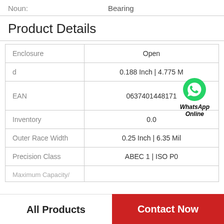Noun: Bearing
Product Details
| Property | Value |
| --- | --- |
| Enclosure | Open |
| d | 0.188 Inch | 4.775 M |
| EAN | 0637401448171 |
| Inventory | 0.0 |
| Outer Race Width | 0.25 Inch | 6.35 Mil |
| Precision Class | ABEC 1 | ISO P0 |
| Maximum Capacity/ |  |
[Figure (logo): WhatsApp green circle icon with phone handset, with text 'WhatsApp Online' in bold italic below]
All Products
Contact Now